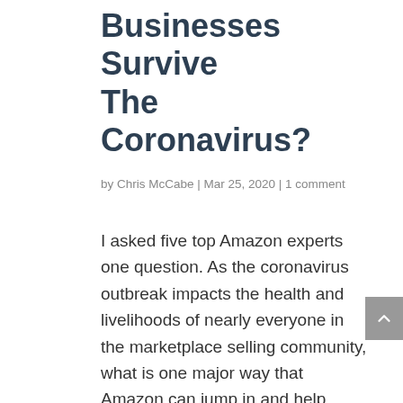Businesses Survive The Coronavirus?
by Chris McCabe | Mar 25, 2020 | 1 comment
I asked five top Amazon experts one question. As the coronavirus outbreak impacts the health and livelihoods of nearly everyone in the marketplace selling community, what is one major way that Amazon can jump in and help sellers today?
My first suggestion was that Amazon could begin by continuing to make